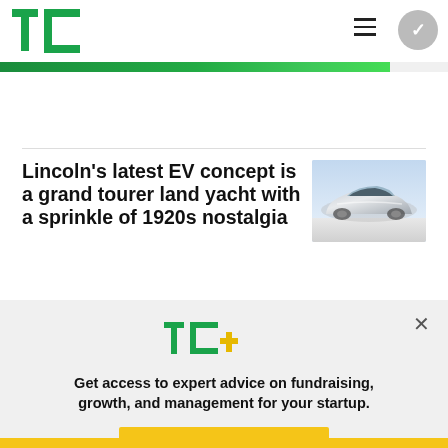TechCrunch logo, hamburger menu, profile button
[Figure (other): Green progress/loading bar spanning nearly full width]
Lincoln’s latest EV concept is a grand tourer land yacht with a sprinkle of 1920s nostalgia
[Figure (photo): Silver futuristic Lincoln EV concept car on a reflective surface with a light blue sky background]
Jaclyn Trop
[Figure (logo): TC+ logo in green and yellow]
Get access to expert advice on fundraising, growth, and management for your startup.
EXPLORE NOW